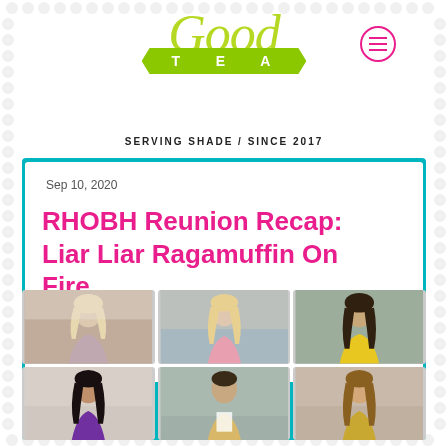[Figure (logo): Good Tea logo with script 'Good' in yellow-green and a green ribbon banner with 'TEA' in white capital letters, plus a pink circle menu icon]
SERVING SHADE / SINCE 2017
Sep 10, 2020
RHOBH Reunion Recap: Liar Liar Ragamuffin On Fire
[Figure (photo): Grid of six photos showing cast members of RHOBH (Real Housewives of Beverly Hills) reunion, three women on top row (blonde in silver, blonde in pink, woman in yellow) and three on bottom row (dark-haired woman in purple, man in suit, woman in gold sequins)]